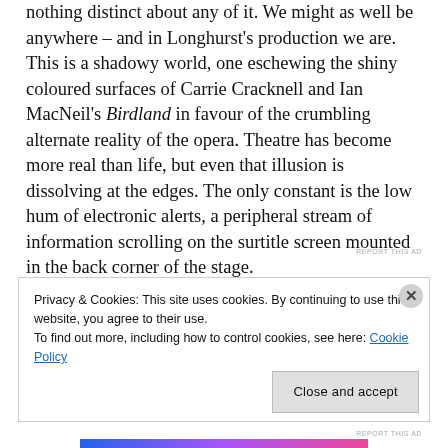nothing distinct about any of it. We might as well be anywhere – and in Longhurst's production we are. This is a shadowy world, one eschewing the shiny coloured surfaces of Carrie Cracknell and Ian MacNeil's Birdland in favour of the crumbling alternate reality of the opera. Theatre has become more real than life, but even that illusion is dissolving at the edges. The only constant is the low hum of electronic alerts, a peripheral stream of information scrolling on the surtitle screen mounted in the back corner of the stage.
REPORT THIS AD
Privacy & Cookies: This site uses cookies. By continuing to use this website, you agree to their use.
To find out more, including how to control cookies, see here: Cookie Policy
Close and accept